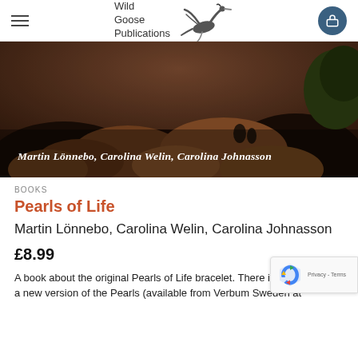Wild Goose Publications
[Figure (photo): Dark rocky landscape with boulders, two people in background, with overlay text: Martin Lönnebo, Carolina Welin, Carolina Johnasson]
BOOKS
Pearls of Life
Martin Lönnebo, Carolina Welin, Carolina Johnasson
£8.99
A book about the original Pearls of Life bracelet. There is a new version of the Pearls (available from Verbum Sweden at